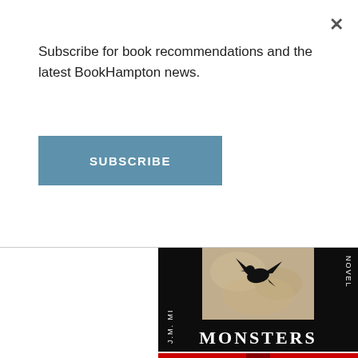Subscribe for book recommendations and the latest BookHampton news.
SUBSCRIBE
[Figure (illustration): Book cover for 'Monsters' — a J.M. novel. Dark background with rotated author name 'J.M. MI' on left spine and 'NOVEL' on right spine, both in white serif text. Center shows a sepia-toned inset image of a black crow/raven in flight against a cloudy sky. Large white serif text 'MONSTERS' across the bottom.]
[Figure (photo): Partial bottom strip of another book cover, only slightly visible at the very bottom of the page.]